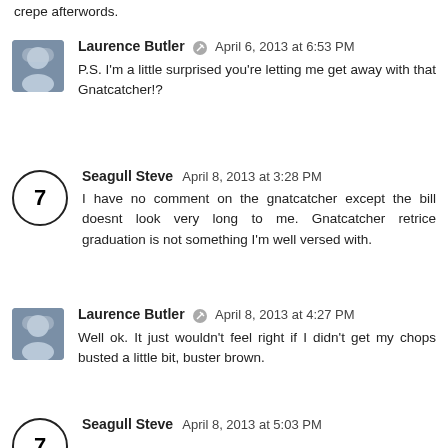crepe afterwords.
Laurence Butler · April 6, 2013 at 6:53 PM
P.S. I'm a little surprised you're letting me get away with that Gnatcatcher!?
Seagull Steve · April 8, 2013 at 3:28 PM
I have no comment on the gnatcatcher except the bill doesnt look very long to me. Gnatcatcher retrice graduation is not something I'm well versed with.
Laurence Butler · April 8, 2013 at 4:27 PM
Well ok. It just wouldn't feel right if I didn't get my chops busted a little bit, buster brown.
Seagull Steve · April 8, 2013 at 5:03 PM